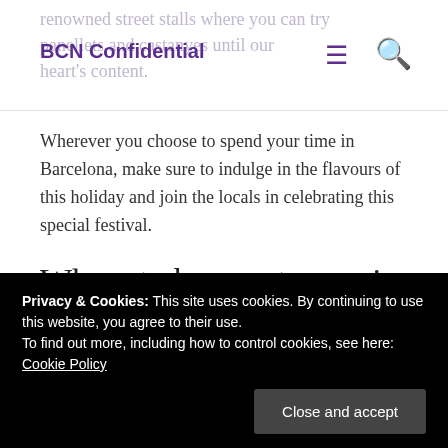BCN Confidential
renowned street stalls where you can try panellets and castanyes until your heart's content.
Wherever you choose to spend your time in Barcelona, make sure to indulge in the flavours of this holiday and join the locals in celebrating this special festival.
Where to buy castanyes in Eixample
Passeig de Sant Joan, 2
Privacy & Cookies: This site uses cookies. By continuing to use this website, you agree to their use.
To find out more, including how to control cookies, see here: Cookie Policy